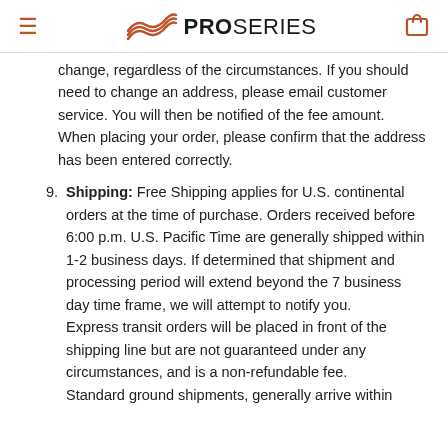PROSERIES
change, regardless of the circumstances. If you should need to change an address, please email customer service. You will then be notified of the fee amount. When placing your order, please confirm that the address has been entered correctly.
9. Shipping: Free Shipping applies for U.S. continental orders at the time of purchase. Orders received before 6:00 p.m. U.S. Pacific Time are generally shipped within 1-2 business days. If determined that shipment and processing period will extend beyond the 7 business day time frame, we will attempt to notify you. Express transit orders will be placed in front of the shipping line but are not guaranteed under any circumstances, and is a non-refundable fee. Standard ground shipments, generally arrive within